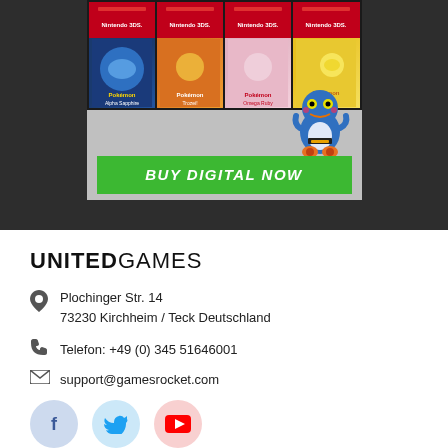[Figure (screenshot): Pokemon games advertisement showing Nintendo 3DS game covers in two rows, a Pokemon character (Croagunk), and a green BUY DIGITAL NOW button, set against a dark grey background.]
UNITEDGAMES
Plochinger Str. 14
73230 Kirchheim / Teck Deutschland
Telefon:  +49 (0) 345 51646001
support@gamesrocket.com
[Figure (illustration): Social media icons: Facebook (blue), Twitter (light blue), YouTube (red) in circular buttons]